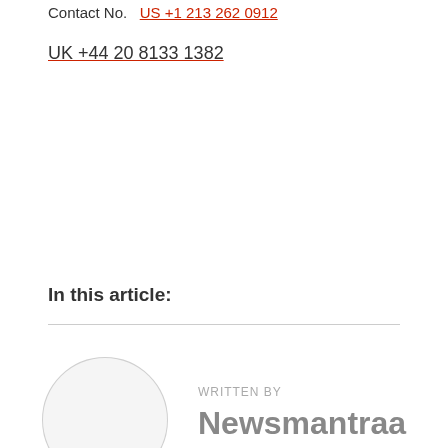Contact No.  US +1 213 262 0912
UK +44 20 8133 1382
In this article:
[Figure (illustration): Circular author avatar placeholder (light gray circle outline)]
WRITTEN BY
Newsmantraa